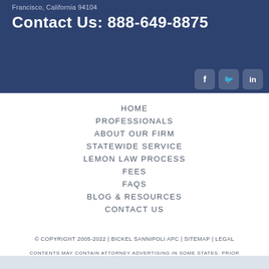Francisco, California 94104
Contact Us: 888-649-8875
[Figure (logo): Social media icons: Facebook, Twitter, LinkedIn in white on dark blue rounded squares]
HOME
PROFESSIONALS
ABOUT OUR FIRM
STATEWIDE SERVICE
LEMON LAW PROCESS
FEES
FAQS
BLOG & RESOURCES
CONTACT US
© COPYRIGHT 2005-2022 | BICKEL SANNIPOLI APC | SITEMAP | LEGAL
CONTENTS MAY CONTAIN ATTORNEY ADVERTISING IN SOME STATES. PRIOR RESULTS DO NOT GUARANTEE A SIMILAR OUTCOME.